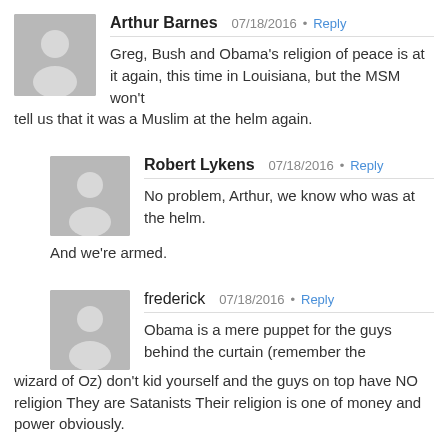Arthur Barnes  07/18/2016 · Reply
Greg, Bush and Obama's religion of peace is at it again, this time in Louisiana, but the MSM won't tell us that it was a Muslim at the helm again.
Robert Lykens  07/18/2016 · Reply
No problem, Arthur, we know who was at the helm.
And we're armed.
frederick  07/18/2016 · Reply
Obama is a mere puppet for the guys behind the curtain (remember the wizard of Oz) don't kid yourself and the guys on top have NO religion They are Satanists Their religion is one of money and power obviously.